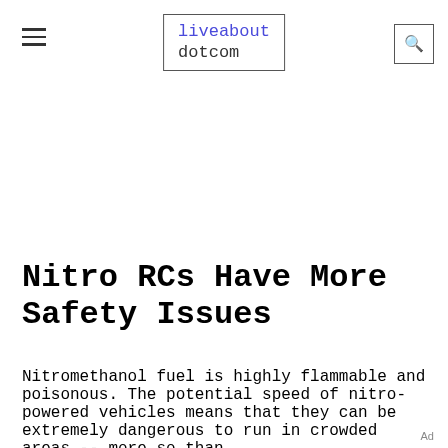liveabout dotcom
Nitro RCs Have More Safety Issues
Nitromethanol fuel is highly flammable and poisonous. The potential speed of nitro-powered vehicles means that they can be extremely dangerous to run in crowded areas -- more so than